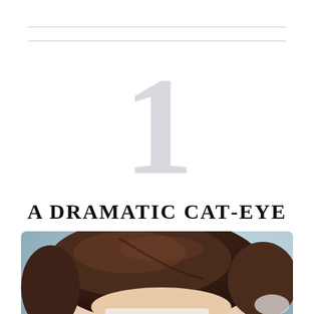1
A DRAMATIC CAT-EYE
[Figure (photo): Close-up photo of a person with dark brown hair against a light blue background, showing the top portion of their face and hair, wearing what appears to be a white garment.]